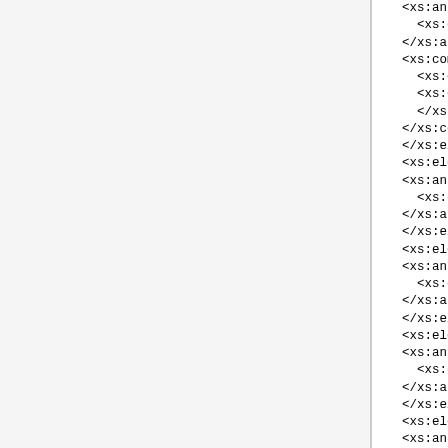<xs:annotation>
    <xs:documentation>Autho
</xs:annotation>
<xs:complexType>
    <xs:complexContent>
    <xs:extension base="aut
    </xs:complexContent>
</xs:complexType>
</xs:element>
<xs:element name="book-ti
<xs:annotation>
    <xs:documentation>Book
</xs:annotation>
</xs:element>
<xs:element name="annotat
<xs:annotation>
    <xs:documentation>Annot
</xs:annotation>
</xs:element>
<xs:element name="keyword
<xs:annotation>
    <xs:documentation>Any k
</xs:annotation>
</xs:element>
<xs:element name="date" t
<xs:annotation>
    <xs:documentation>Date
</xs:annotation>
</xs:element>
<xs:element name="coverpa
<xs:annotation>
    <xs:documentation>Any c
</xs:annotation>